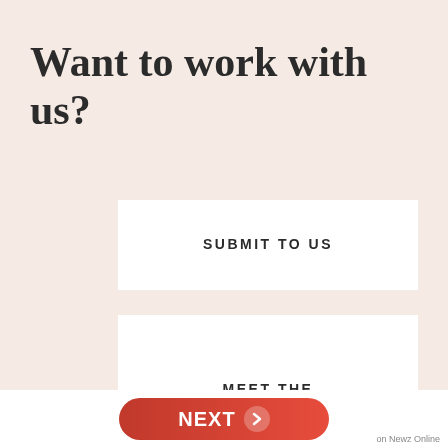Want to work with us?
SUBMIT TO US
SHARE YOUR
PRODUCT
MEET THE
EDITORS
[Figure (infographic): Social sharing sidebar with Pinterest, Telegram, and Twitter icons with handwritten-style labels: pin it, share, tweet]
NEXT
on Newz Online